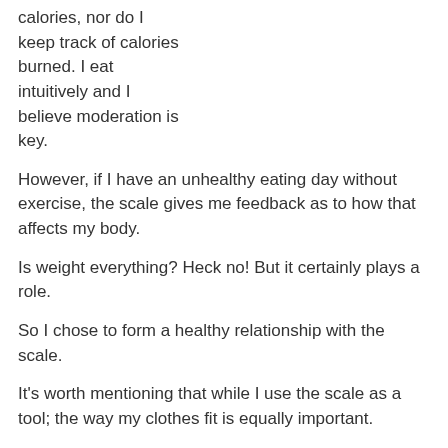calories, nor do I keep track of calories burned. I eat intuitively and I believe moderation is key.
However, if I have an unhealthy eating day without exercise, the scale gives me feedback as to how that affects my body.
Is weight everything? Heck no! But it certainly plays a role.
So I chose to form a healthy relationship with the scale.
It's worth mentioning that while I use the scale as a tool; the way my clothes fit is equally important.